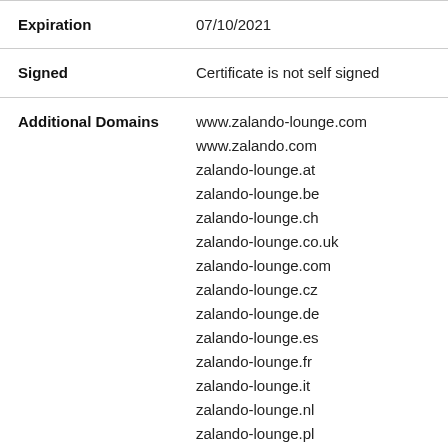| Expiration | 07/10/2021 |
| Signed | Certificate is not self signed |
| Additional Domains | www.zalando-lounge.com
www.zalando.com
zalando-lounge.at
zalando-lounge.be
zalando-lounge.ch
zalando-lounge.co.uk
zalando-lounge.com
zalando-lounge.cz
zalando-lounge.de
zalando-lounge.es
zalando-lounge.fr
zalando-lounge.it
zalando-lounge.nl
zalando-lounge.pl
zalando-prive.es
zalando-prive.fr
zalando-prive.it
zalando.at |